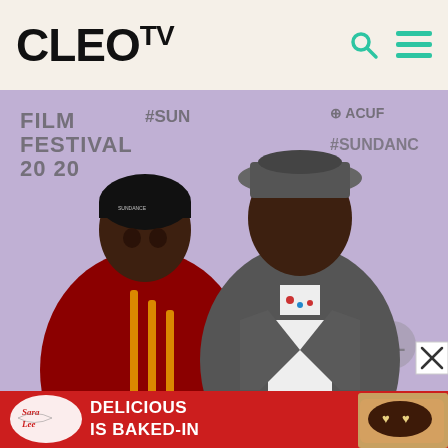[Figure (logo): CLEO TV logo in bold black text with search and hamburger menu icons in teal on a cream/beige background header]
[Figure (photo): Two people posing at the Sundance Film Festival 2020 red carpet backdrop. Person on left wearing a black beanie and dark red/maroon Adidas jacket with yellow stripes. Person on right wearing a grey felt fedora hat and grey suede jacket over white shirt with decorative accessories. Background shows Sundance Film Festival 2020 and #SUNDANCE banners with Acura sponsorship logo.]
[Figure (illustration): Sara Lee advertisement banner with red background showing Sara Lee logo, text DELICIOUS IS BAKED-IN, and image of bread with chocolate spread and heart-shaped butter pats]